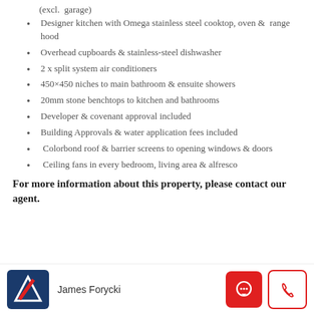(excl.  garage)
Designer kitchen with Omega stainless steel cooktop, oven &  range hood
Overhead cupboards & stainless-steel dishwasher
2 x split system air conditioners
450×450 niches to main bathroom & ensuite showers
20mm stone benchtops to kitchen and bathrooms
Developer & covenant approval included
Building Approvals & water application fees included
Colorbond roof & barrier screens to opening windows & doors
Ceiling fans in every bedroom, living area & alfresco
For more information about this property, please contact our agent.
James Forycki